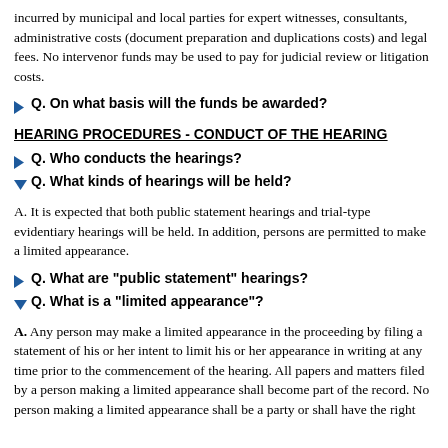incurred by municipal and local parties for expert witnesses, consultants, administrative costs (document preparation and duplications costs) and legal fees. No intervenor funds may be used to pay for judicial review or litigation costs.
Q. On what basis will the funds be awarded?
HEARING PROCEDURES - CONDUCT OF THE HEARING
Q. Who conducts the hearings?
Q. What kinds of hearings will be held?
A. It is expected that both public statement hearings and trial-type evidentiary hearings will be held. In addition, persons are permitted to make a limited appearance.
Q. What are "public statement" hearings?
Q. What is a "limited appearance"?
A. Any person may make a limited appearance in the proceeding by filing a statement of his or her intent to limit his or her appearance in writing at any time prior to the commencement of the hearing. All papers and matters filed by a person making a limited appearance shall become part of the record. No person making a limited appearance shall be a party or shall have the right